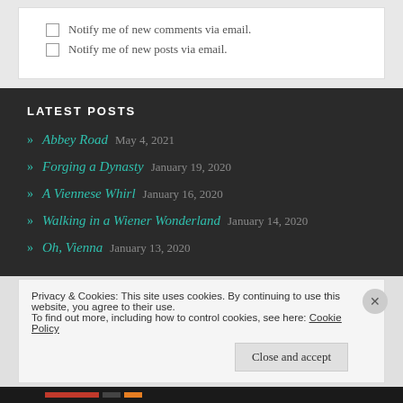Notify me of new comments via email.
Notify me of new posts via email.
LATEST POSTS
Abbey Road  May 4, 2021
Forging a Dynasty  January 19, 2020
A Viennese Whirl  January 16, 2020
Walking in a Wiener Wonderland  January 14, 2020
Oh, Vienna  January 13, 2020
Privacy & Cookies: This site uses cookies. By continuing to use this website, you agree to their use.
To find out more, including how to control cookies, see here: Cookie Policy
Close and accept